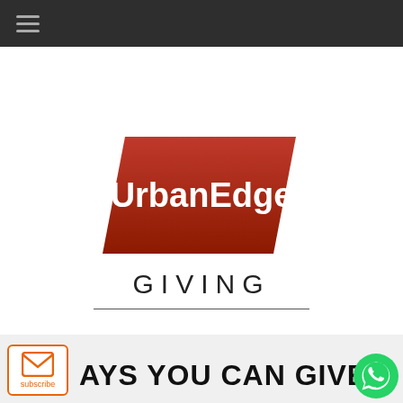Navigation bar with hamburger menu
[Figure (logo): UrbanEdge logo — bold white 'UrbanEdge' text on a red-to-dark-red parallelogram/tilted rectangle]
GIVING
AYS YOU CAN GIVE
[Figure (other): Subscribe envelope icon button with orange border and 'subscribe' label]
[Figure (other): WhatsApp green circular icon button]